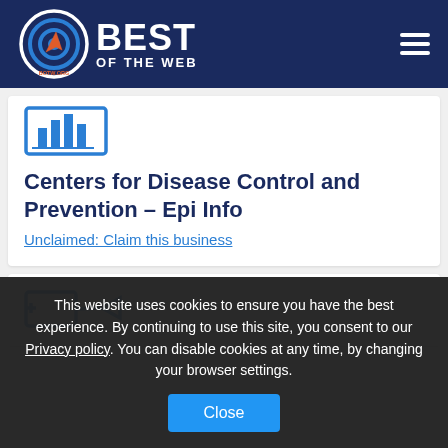[Figure (logo): Best of the Web (BOTW.ORG) logo with circular target icon, white text on dark blue background, hamburger menu icon on the right]
[Figure (illustration): Blue icon representing a data/chart grid graphic for CDC Epi Info listing]
Centers for Disease Control and Prevention – Epi Info
Unclaimed: Claim this business
[Figure (illustration): Blue icon for a second listing below, partially visible]
This website uses cookies to ensure you have the best experience. By continuing to use this site, you consent to our Privacy policy. You can disable cookies at any time, by changing your browser settings.
Close